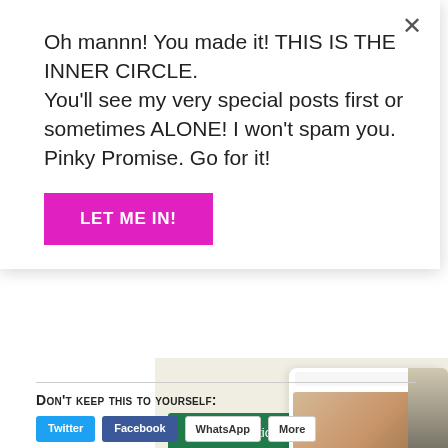Oh mannn! You made it! THIS IS THE INNER CIRCLE. You'll see my very special posts first or sometimes ALONE! I won't spam you. Pinky Promise. Go for it!
LET ME IN!
[Figure (screenshot): WordPress/website builder advertisement showing a food blog website mockup with 'Explore options' green button, WordPress logo, and food photography images on a beige background. 'REPORT THIS AD' text at bottom right.]
REPORT THIS AD
Don't keep this to yourself:
Share buttons row: Twitter, Facebook, WhatsApp, More